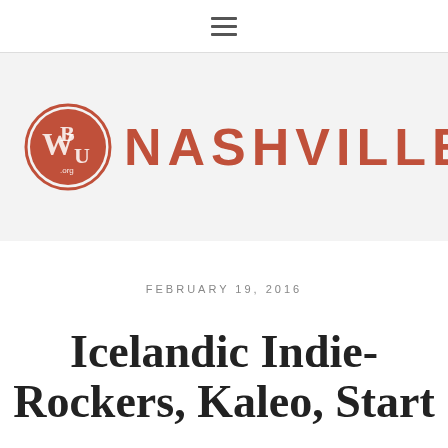☰
[Figure (logo): WBU Nashville logo with circular red emblem and NASHVILLE text in red capital letters]
FEBRUARY 19, 2016
Icelandic Indie-Rockers, Kaleo, Start